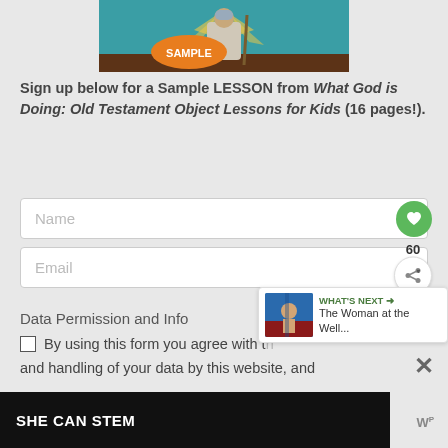[Figure (illustration): Colorful illustration of a biblical figure (shepherd/prophet) with a staff, yellow sunburst background, teal rays, brown ground, with an orange oval badge saying SAMPLE]
Sign up below for a Sample LESSON from What God is Doing: Old Testament Object Lessons for Kids (16 pages!).
[Figure (screenshot): Web form with Name input field and a green heart button overlay, Email input field with share widget showing count 60]
Data Permission and Info
By using this form you agree with the storage and handling of your data by this website, and
[Figure (screenshot): WHAT'S NEXT arrow with thumbnail of The Woman at the Well article]
[Figure (screenshot): Bottom advertisement bar: SHE CAN STEM on black background, with X close button and W logo]